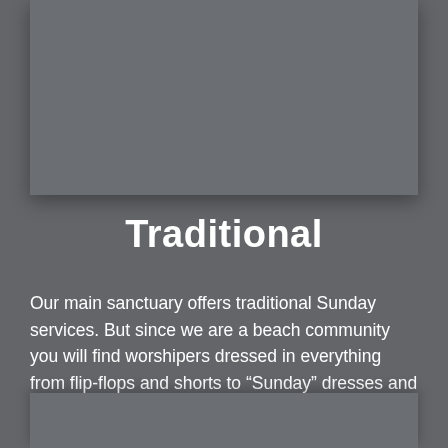[Figure (photo): Gray placeholder image area at top of page]
Traditional
Our main sanctuary offers traditional Sunday services. But since we are a beach community you will find worshipers dressed in everything from flip-flops and shorts to “Sunday” dresses and suits.
[Figure (photo): Gray placeholder image area at bottom of page]